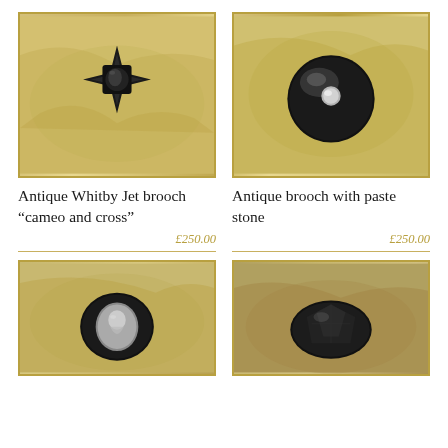[Figure (photo): Antique Whitby Jet brooch in cross shape with cameo, photographed on natural stone background]
[Figure (photo): Antique round black brooch with paste stone, photographed on natural stone background]
Antique Whitby Jet brooch “cameo and cross”
£250.00
Antique brooch with paste stone
£250.00
[Figure (photo): Antique oval black brooch with cameo, photographed on stone background]
[Figure (photo): Antique black brooch with faceted stone, photographed on rocky background]